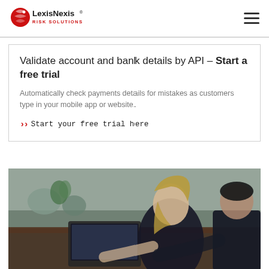LexisNexis Risk Solutions
Validate account and bank details by API – Start a free trial
Automatically check payments details for mistakes as customers type in your mobile app or website.
>> Start your free trial here
[Figure (photo): A woman with blonde hair in a dark top working on a laptop at a table, with a man in a dark suit beside her. Office/cafe setting with chairs and plants in the background.]